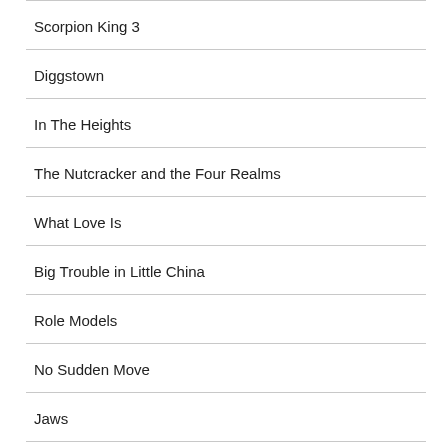| Scorpion King 3 |
| Diggstown |
| In The Heights |
| The Nutcracker and the Four Realms |
| What Love Is |
| Big Trouble in Little China |
| Role Models |
| No Sudden Move |
| Jaws |
| Necessary Roughness |
| The Pelican Brief |
| Police Academy 4: Citizens on Patrol |